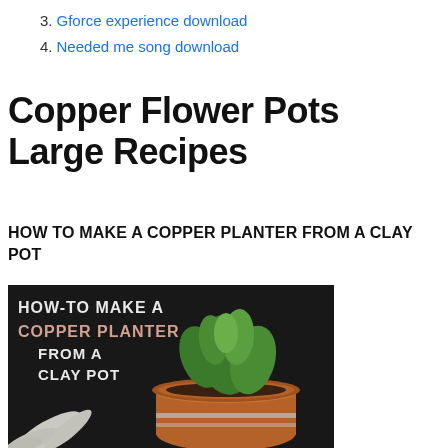3. Gforce experience download
4. Needed me song download
Copper Flower Pots Large Recipes
HOW TO MAKE A COPPER PLANTER FROM A CLAY POT
[Figure (photo): Dark background photo showing a terracotta clay pot painted copper with silver bands, containing a green succulent plant. White chalk-style text reads: HOW-TO MAKE A COPPER PLANTER FROM A CLAY POT. White fern/feather decoration in lower left.]